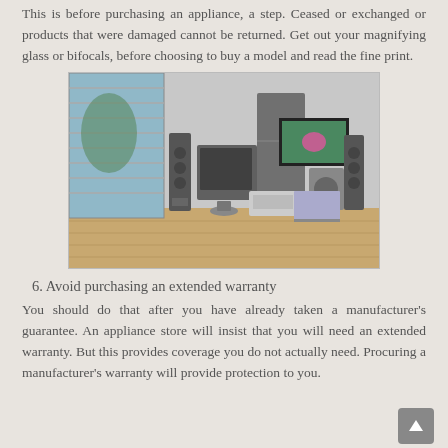This is before purchasing an appliance, a step. Ceased or exchanged or products that were damaged cannot be returned. Get out your magnifying glass or bifocals, before choosing to buy a model and read the fine print.
[Figure (photo): A room with various home appliances including speakers, microwave, refrigerator, TV, washer/dryer, laptop, and printer arranged on a wooden floor near large windows with blinds.]
6. Avoid purchasing an extended warranty
You should do that after you have already taken a manufacturer's guarantee. An appliance store will insist that you will need an extended warranty. But this provides coverage you do not actually need. Procuring a manufacturer's warranty will provide protection to you.